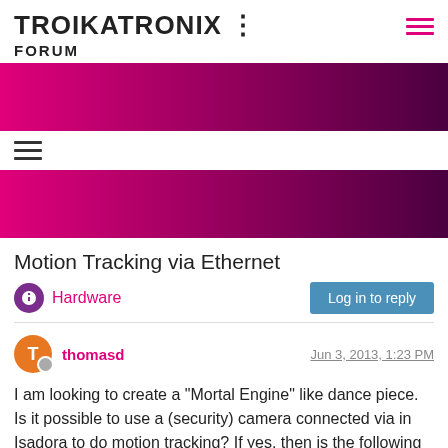TROIKATRONIX : FORUM
[Figure (illustration): Magenta to dark purple gradient banner strip]
[Figure (illustration): Hamburger menu icon (three horizontal lines)]
[Figure (illustration): Second magenta to dark purple gradient banner strip]
Motion Tracking via Ethernet
Hardware | Log in to reply
thomasd — Jun 3, 2013, 1:23 PM
I am looking to create a "Mortal Engine" like dance piece.  Is it possible to use a (security) camera connected via in Isadora to do motion tracking?  If yes, then is the following a good camera choice: